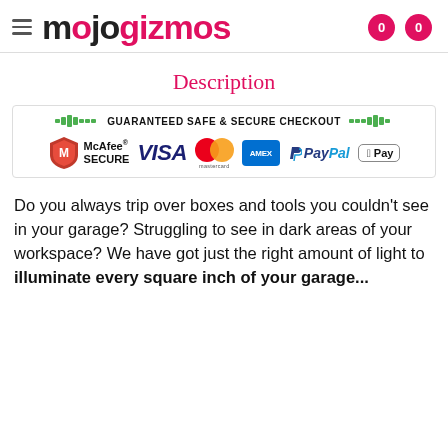mojogizmos — navigation header with cart icons
Description
[Figure (infographic): Guaranteed Safe & Secure Checkout banner with payment logos: McAfee SECURE, VISA, Mastercard, American Express, PayPal, Apple Pay]
Do you always trip over boxes and tools you couldn't see in your garage? Struggling to see in dark areas of your workspace? We have got just the right amount of light to illuminate every square inch of your garage...